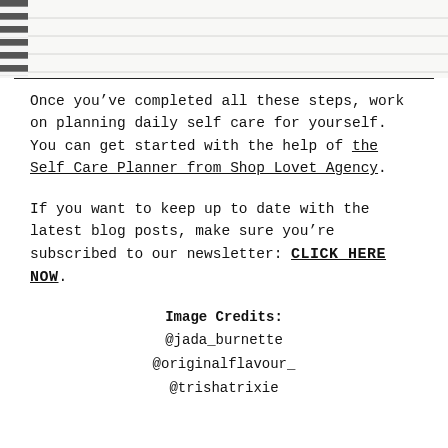[Figure (photo): Top portion of a spiral-bound notebook with lined pages, cropped view showing the top of the notebook and spiral binding on the left side.]
Once you've completed all these steps, work on planning daily self care for yourself. You can get started with the help of the Self Care Planner from Shop Lovet Agency.
If you want to keep up to date with the latest blog posts, make sure you're subscribed to our newsletter: CLICK HERE NOW.
Image Credits:
@jada_burnette
@originalflavour_
@trishatrixie